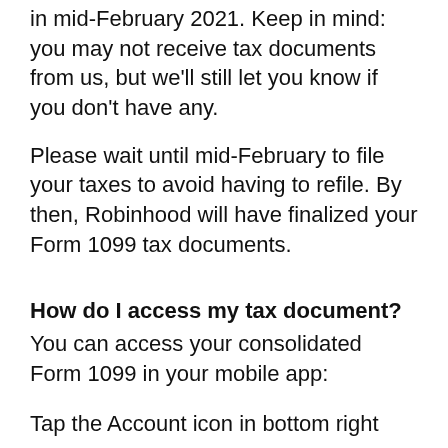in mid-February 2021. Keep in mind: you may not receive tax documents from us, but we'll still let you know if you don't have any.
Please wait until mid-February to file your taxes to avoid having to refile. By then, Robinhood will have finalized your Form 1099 tax documents.
How do I access my tax document?
You can access your consolidated Form 1099 in your mobile app:
Tap the Account icon in bottom right corner
Tap Statements & History
Tap Tax Documents.